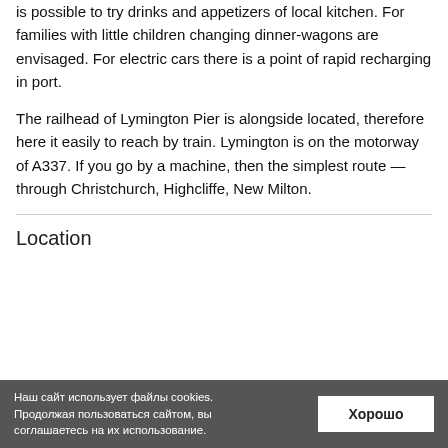is possible to try drinks and appetizers of local kitchen. For families with little children changing dinner-wagons are envisaged. For electric cars there is a point of rapid recharging in port.
The railhead of Lymington Pier is alongside located, therefore here it easily to reach by train. Lymington is on the motorway of A337. If you go by a machine, then the simplest route — through Christchurch, Highcliffe, New Milton.
Location
Наш сайт использует файлы cookies. Продолжая пользоваться сайтом, вы соглашаетесь на их использование.